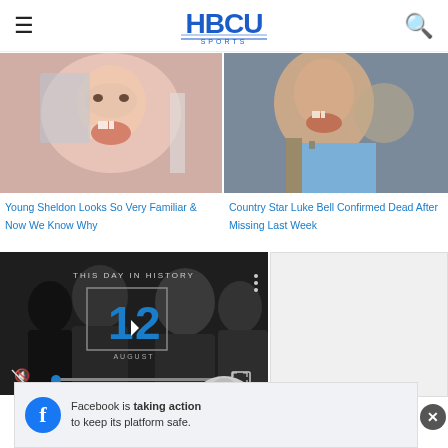HBCU Sports
[Figure (photo): Close-up photo of a young child with missing front teeth, mouth open]
[Figure (photo): Close-up photo of a man with missing front teeth, mouth open, wearing a blue shirt]
Young Sheldon Looks So Very Familiar & Now We Know Why
Country Star Luke Bell Confirmed Dead After Missing Last Week
[Figure (screenshot): Video player showing 'This Day in History' with date 12 August, mute button, progress bar, and fullscreen controls]
Facebook is taking action to keep its platform safe.